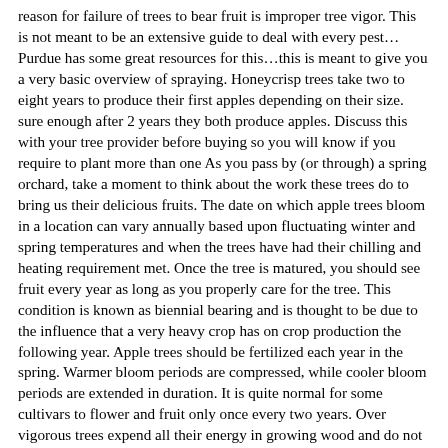reason for failure of trees to bear fruit is improper tree vigor. This is not meant to be an extensive guide to deal with every pest…Purdue has some great resources for this…this is meant to give you a very basic overview of spraying. Honeycrisp trees take two to eight years to produce their first apples depending on their size. sure enough after 2 years they both produce apples. Discuss this with your tree provider before buying so you will know if you require to plant more than one As you pass by (or through) a spring orchard, take a moment to think about the work these trees do to bring us their delicious fruits. The date on which apple trees bloom in a location can vary annually based upon fluctuating winter and spring temperatures and when the trees have had their chilling and heating requirement met. Once the tree is matured, you should see fruit every year as long as you properly care for the tree. This condition is known as biennial bearing and is thought to be due to the influence that a very heavy crop has on crop production the following year. Apple trees should be fertilized each year in the spring. Warmer bloom periods are compressed, while cooler bloom periods are extended in duration. It is quite normal for some cultivars to flower and fruit only once every two years. Over vigorous trees expend all their energy in growing wood and do not produce flower buds. SIZES of Trees: Standard size tree – can grow to 25-30 feet tall along Wasatch Front with a spread of 25-30 feet. Remove all damaged, diseased, dead or crossing branches at the base of the tree. Heavy applications of nitrogen will stimulate